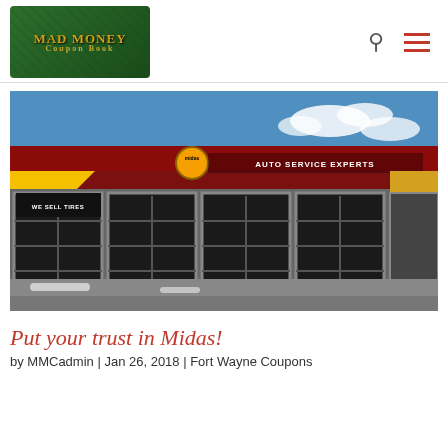Mad Money Coupon Book
[Figure (photo): Exterior photo of a Midas Auto Service Experts shop with red facade, yellow stripe, garage bays, and signage reading 'WE SELL TIRES']
Put your trust in Midas!
by MMCadmin | Jan 26, 2018 | Fort Wayne Coupons